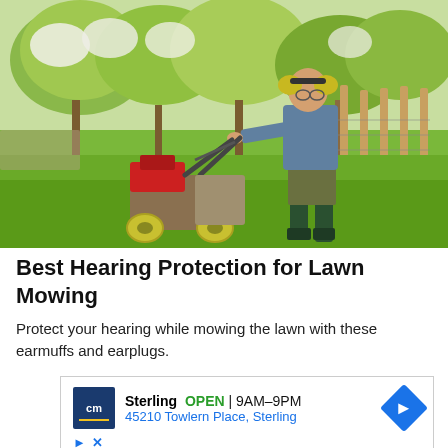[Figure (photo): A man wearing yellow ear protection/earmuffs and a grey jacket mowing a lawn with a red and black push lawn mower. He wears dark green wellington boots and olive trousers. The setting is a garden with flowering trees and wooden fence posts in the background.]
Best Hearing Protection for Lawn Mowing
Protect your hearing while mowing the lawn with these earmuffs and earplugs.
[Figure (other): Advertisement box showing a Canadian Tire (CM) store location: Sterling, OPEN 9AM-9PM, 45210 Towlern Place, Sterling. Includes CM logo, a blue navigation arrow icon, and play/close icons at the bottom.]